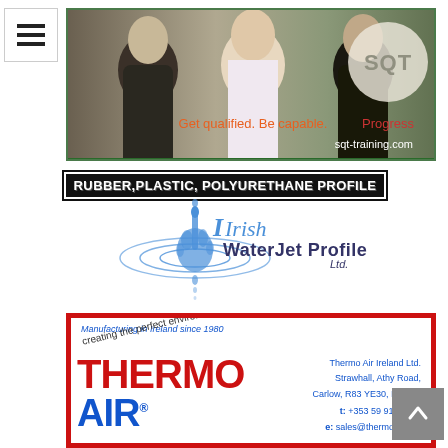[Figure (logo): SQT Training banner with three business professionals, SQT logo circle, tagline 'Get qualified. Be capable. Progress' and URL sqt-training.com]
RUBBER,PLASTIC, POLYURETHANE PROFILE
[Figure (logo): Irish WaterJet Profile Ltd logo with water droplet splash graphic]
[Figure (logo): Thermo Air Ireland Ltd advertisement. Text: Manufacturing in Ireland since 1980, creating the perfect environment, THERMO AIR (R), Thermo Air Ireland Ltd., Strawhall, Athy Road, Carlow, R83 YE30, Ireland. t: +353 59 913 1646, e: sales@thermoaircom]